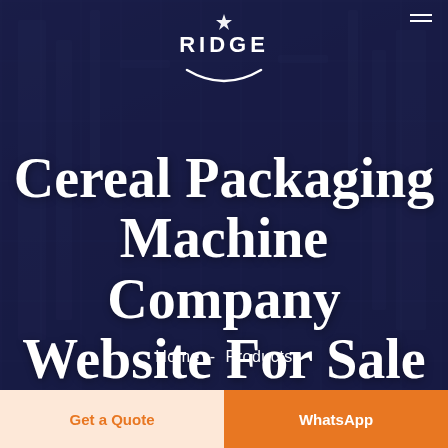[Figure (screenshot): Website landing page screenshot for Ridge cereal packaging machine company, featuring industrial machinery background with dark blue overlay, company logo at top, large hero title 'Cereal Packaging Machine Company Website For Sale', navigation links 'Home - Products', and two CTA buttons 'Get a Quote' and 'WhatsApp']
Cereal Packaging Machine Company Website For Sale
Home - Products
Get a Quote
WhatsApp